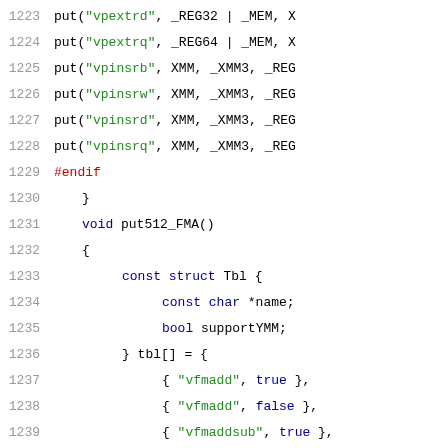Source code listing lines 1223-1243
1223    put("vpextrd", _REG32 | _MEM, X
1224    put("vpextrq", _REG64 | _MEM, X
1225    put("vpinsrb", XMM, _XMM3, _REG
1226    put("vpinsrw", XMM, _XMM3, _REG
1227    put("vpinsrd", XMM, _XMM3, _REG
1228    put("vpinsrq", XMM, _XMM3, _REG
1229  #endif
1230      }
1231      void put512_FMA()
1232      {
1233          const struct Tbl {
1234              const char *name;
1235              bool supportYMM;
1236          } tbl[] = {
1237              { "vfmadd", true },
1238              { "vfmadd", false },
1239              { "vfmaddsub", true },
1240              { "vfmsubadd", true },
1241              { "vfmsub", true },
1242              { "vfmsub", false },
1243              { "vfnmadd", true },